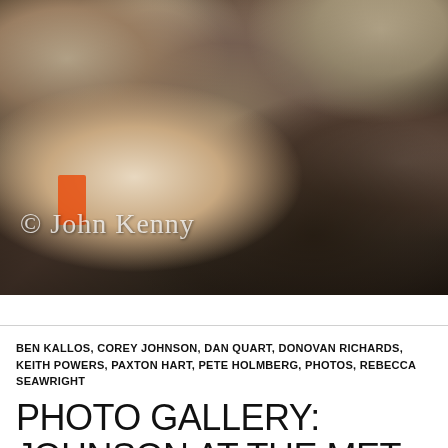[Figure (photo): Crowd scene photograph with a woman in center wearing a floral scarf and dark jacket, gesturing with arm raised. People surround her. Orange sign visible at left. Photo watermarked '© John Kenny'.]
BEN KALLOS, COREY JOHNSON, DAN QUART, DONOVAN RICHARDS, KEITH POWERS, PAXTON HART, PETE HOLMBERG, PHOTOS, REBECCA SEAWRIGHT
PHOTO GALLERY: JOHNSON AT THE MET